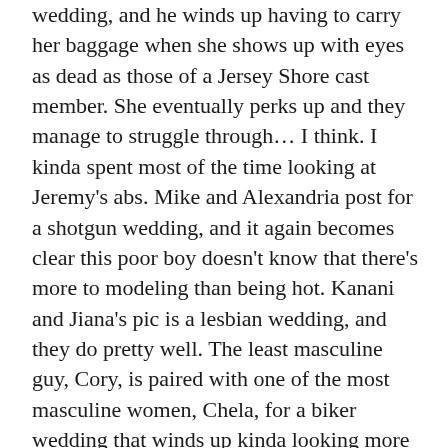wedding, and he winds up having to carry her baggage when she shows up with eyes as dead as those of a Jersey Shore cast member. She eventually perks up and they manage to struggle through… I think. I kinda spent most of the time looking at Jeremy's abs. Mike and Alexandria post for a shotgun wedding, and it again becomes clear this poor boy doesn't know that there's more to modeling than being hot. Kanani and Jiana's pic is a lesbian wedding, and they do pretty well. The least masculine guy, Cory, is paired with one of the most masculine women, Chela, for a biker wedding that winds up kinda looking more like a lesbian wedding than the actual lesbian wedding pic. Don and Chris H. are the obligatory gay dudes getting married, and while Chris claims not to be thrilled with the idea, he throws himself into the shoot and does such an amazing job that I begin to use the term...